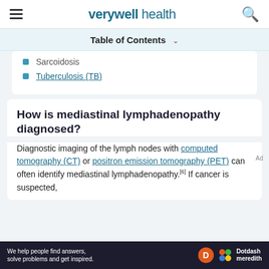verywell health
Table of Contents
Sarcoidosis
Tuberculosis (TB)
How is mediastinal lymphadenopathy diagnosed?
Diagnostic imaging of the lymph nodes with computed tomography (CT) or positron emission tomography (PET) can often identify mediastinal lymphadenopathy.[6] If cancer is suspected,
[Figure (other): Dotdash Meredith ad banner: We help people find answers, solve problems and get inspired.]